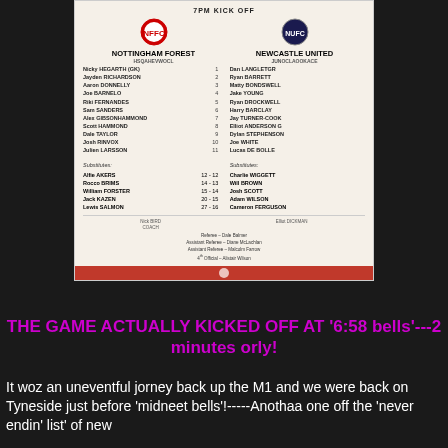[Figure (photo): Photograph of a football match teamsheet for Nottingham Forest vs Newcastle United, 7PM Kick Off]
THE GAME ACTUALLY KICKED OFF AT '6:58 bells'---2 minutes orly!
It woz an uneventful jorney back up the M1 and we were back on Tyneside just before 'midneet bells'!-----Anothaa one off the 'never endin' list' of new